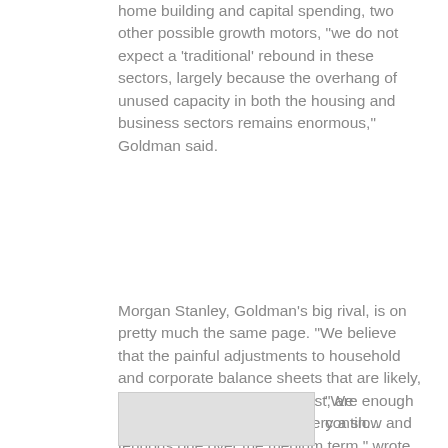home building and capital spending, two other possible growth motors, "we do not expect a 'traditional' rebound in these sectors, largely because the overhang of unused capacity in both the housing and business sectors remains enormous," Goldman said.
Morgan Stanley, Goldman's big rival, is on pretty much the same page. "We believe that the painful adjustments to household and corporate balance sheets that are likely, given the excesses of the past, are enough to make the economic recovery a slow and tenuous one over the medium term," wrote Morgan Stanley economist Manoj Pradhan in a recent analysis. Nonsense! says Michael Darda, chief economist at brokerage firm MKM Partners in Greenwich, Conn., who bullishly and accurately predicted this year's huge rally in risky assets such as stocks and junk bonds.
[Figure (photo): Partially visible image/photo at the bottom left of the page]
"We contin...